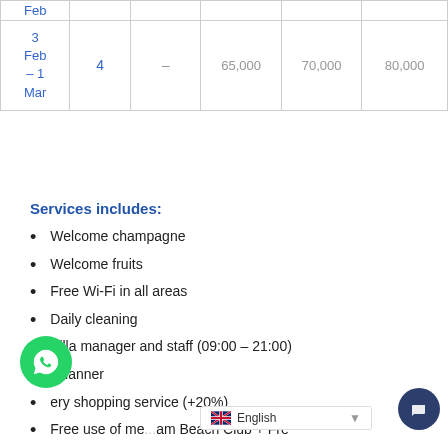| Date | Nights |  |  |  |  |
| --- | --- | --- | --- | --- | --- |
| Feb |  |  |  |  |  |
| 3 Feb – 1 Mar | 4 | – | 65,000 | 70,000 | 80,000 |
Services includes:
Welcome champagne
Welcome fruits
Free Wi-Fi in all areas
Daily cleaning
Villa manager and staff (09:00 – 21:00)
d planner
ery shopping service (+20%)
Free use of me...am Beach Club + Fre...